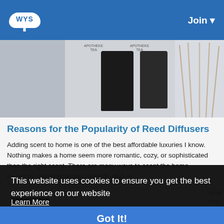WYS | Join
[Figure (photo): Grayscale photo of reed diffuser products with text labels 'APOTHEKE' visible, and reed sticks on the right side]
Reasons for the Popularity of Reed Diffusers
Adding scent to home is one of the best affordable luxuries I know. Nothing makes a home seem more romantic, cozy, or sophisticated than the right scent. There are many ways to scent the home, including scented candles, sprays, plug-in
This website uses cookies to ensure you get the best experience on our website
Learn More
Got It!